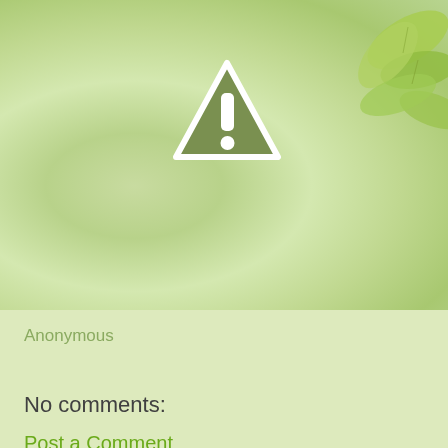[Figure (illustration): Green blurred nature background with leaves in top right corner and a warning/caution triangle icon (exclamation mark) in the center-upper area]
Anonymous
Share
No comments:
Post a Comment